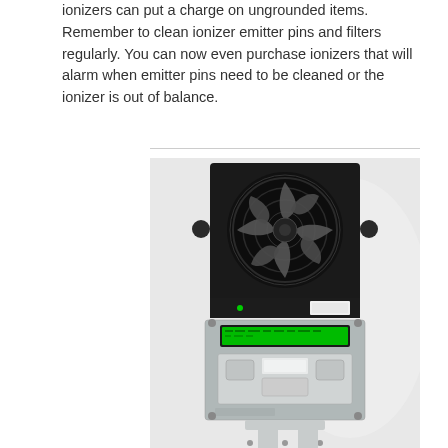ionizers can put a charge on ungrounded items. Remember to clean ionizer emitter pins and filters regularly. You can now even purchase ionizers that will alarm when emitter pins need to be cleaned or the ionizer is out of balance.
[Figure (photo): Photograph of an industrial ionizer device consisting of a black fan-type ionizing blower unit on top mounted on a silver/grey control box unit with a green LCD display and control buttons, sitting on a pedestal base.]